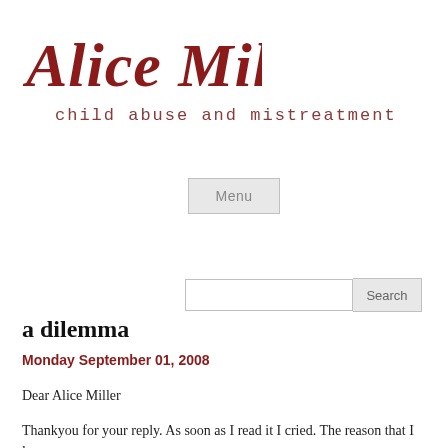Alice Miller
child abuse and mistreatment
[Figure (other): Menu button UI element]
[Figure (other): Search input box and Search button UI element]
a dilemma
Monday September 01, 2008
Dear Alice Miller
Thankyou for your reply. As soon as I read it I cried. The reason that I love a